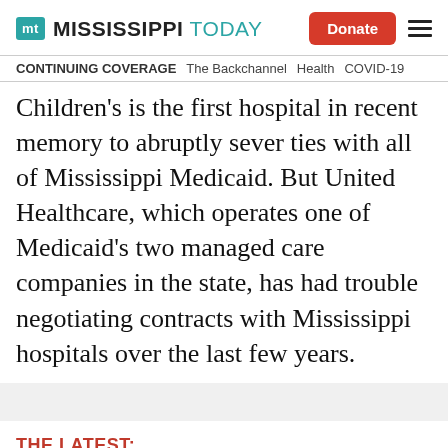Mississippi Today — Donate
CONTINUING COVERAGE  The Backchannel  Health  COVID-19
Children's is the first hospital in recent memory to abruptly sever ties with all of Mississippi Medicaid. But United Healthcare, which operates one of Medicaid's two managed care companies in the state, has had trouble negotiating contracts with Mississippi hospitals over the last few years.
THE LATEST: